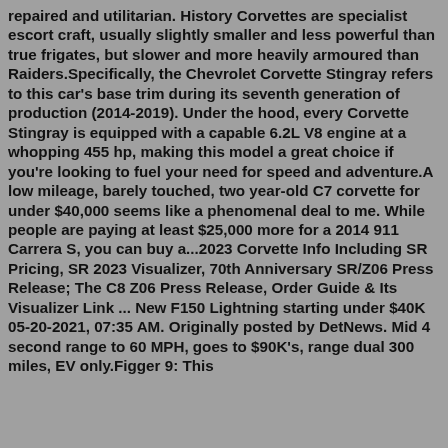repaired and utilitarian. History Corvettes are specialist escort craft, usually slightly smaller and less powerful than true frigates, but slower and more heavily armoured than Raiders.Specifically, the Chevrolet Corvette Stingray refers to this car's base trim during its seventh generation of production (2014-2019). Under the hood, every Corvette Stingray is equipped with a capable 6.2L V8 engine at a whopping 455 hp, making this model a great choice if you're looking to fuel your need for speed and adventure.A low mileage, barely touched, two year-old C7 corvette for under $40,000 seems like a phenomenal deal to me. While people are paying at least $25,000 more for a 2014 911 Carrera S, you can buy a...2023 Corvette Info Including SR Pricing, SR 2023 Visualizer, 70th Anniversary SR/Z06 Press Release; The C8 Z06 Press Release, Order Guide & Its Visualizer Link ... New F150 Lightning starting under $40K 05-20-2021, 07:35 AM. Originally posted by DetNews. Mid 4 second range to 60 MPH, goes to $90K's, range dual 300 miles, EV only.Figger 9: This